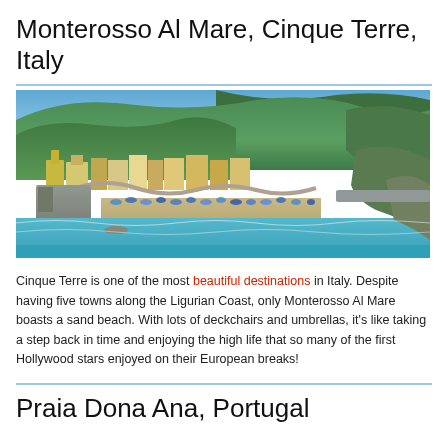Monterosso Al Mare, Cinque Terre, Italy
[Figure (photo): Aerial/elevated view of Monterosso Al Mare, Cinque Terre, Italy, showing the coastal town with colorful buildings, a sandy beach with blue and white umbrellas/deckchairs, turquoise water, and lush green tree-covered hills in the background under a blue sky.]
Cinque Terre is one of the most beautiful destinations in Italy. Despite having five towns along the Ligurian Coast, only Monterosso Al Mare boasts a sand beach. With lots of deckchairs and umbrellas, it's like taking a step back in time and enjoying the high life that so many of the first Hollywood stars enjoyed on their European breaks!
Praia Dona Ana, Portugal